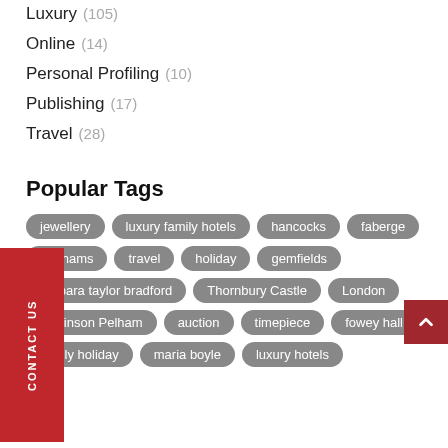Luxury (105)
Online (14)
Personal Profiling (10)
Publishing (17)
Travel (28)
Popular Tags
jewellery  luxury family hotels  hancocks  faberge  bonhams  travel  holiday  gemfields  barbara taylor bradford  Thornbury Castle  London  Robinson Pelham  auction  timepiece  fowey hall  family holiday  maria boyle  luxury hotels